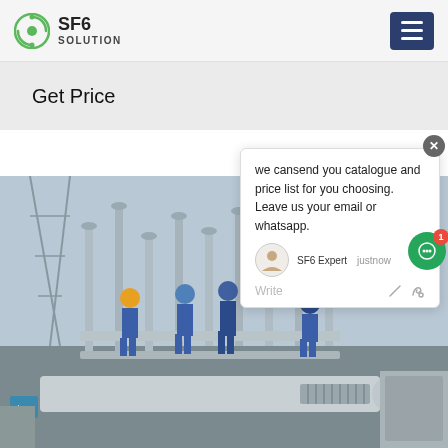SF6 SOLUTION
Get Price
[Figure (screenshot): Chat popup overlay with message: 'we cansend you catalogue and price list for you choosing. Leave us your email or whatsapp.' with SF6 Expert avatar, justnow timestamp, and Write/emoji toolbar]
[Figure (photo): Workers in blue overalls and hard hats performing maintenance on large SF6 gas insulated electrical substation equipment with pipes and cylinders outdoors]